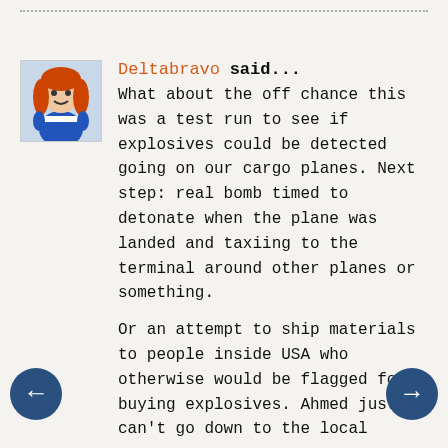Deltabravo said... What about the off chance this was a test run to see if explosives could be detected going on our cargo planes. Next step: real bomb timed to detonate when the plane was landed and taxiing to the terminal around other planes or something.

Or an attempt to ship materials to people inside USA who otherwise would be flagged for buying explosives. Ahmed just can't go down to the local
[Figure (illustration): Avatar image of a cartoon female character in blue and white outfit]
[Figure (illustration): Left navigation arrow button]
[Figure (illustration): Right navigation arrow button]